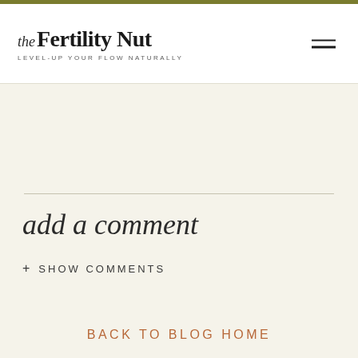the Fertility Nut — LEVEL-UP YOUR FLOW NATURALLY
add a comment
+ SHOW COMMENTS
BACK TO BLOG HOME